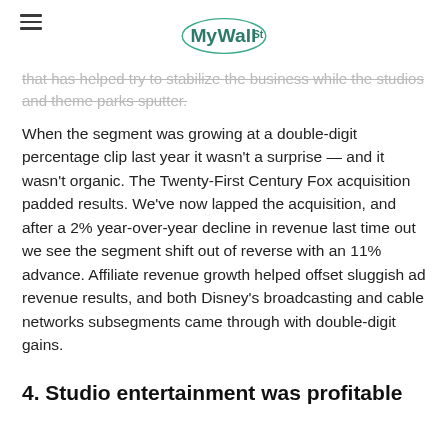MyWallSt
that has helped try to stabilize the business while the studios and theme parks sputter.
When the segment was growing at a double-digit percentage clip last year it wasn't a surprise — and it wasn't organic. The Twenty-First Century Fox acquisition padded results. We've now lapped the acquisition, and after a 2% year-over-year decline in revenue last time out we see the segment shift out of reverse with an 11% advance. Affiliate revenue growth helped offset sluggish ad revenue results, and both Disney's broadcasting and cable networks subsegments came through with double-digit gains.
4. Studio entertainment was profitable